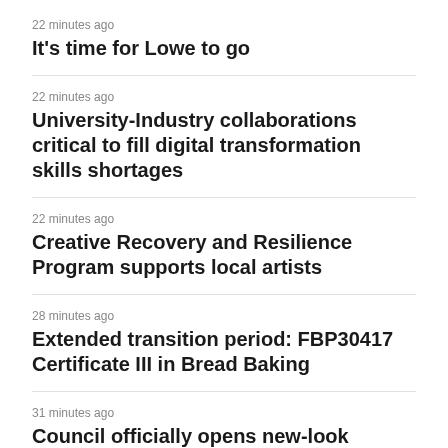22 minutes ago
It's time for Lowe to go
22 minutes ago
University-Industry collaborations critical to fill digital transformation skills shortages
22 minutes ago
Creative Recovery and Resilience Program supports local artists
28 minutes ago
Extended transition period: FBP30417 Certificate III in Bread Baking
31 minutes ago
Council officially opens new-look Hobsons Bay Civic Centre